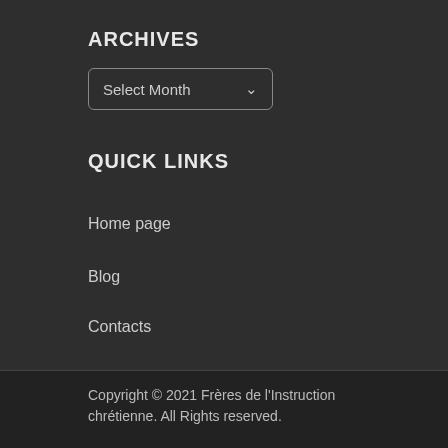ARCHIVES
Select Month
QUICK LINKS
Home page
Blog
Contacts
Copyright © 2021 Frères de l'Instruction chrétienne. All Rights reserved.